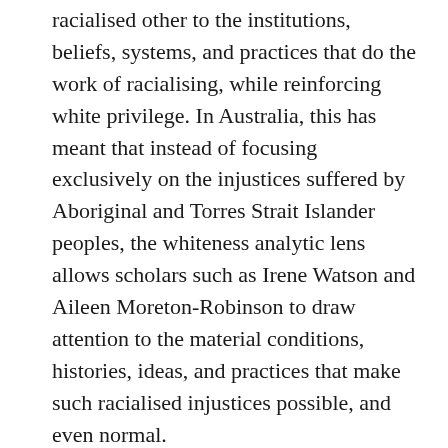racialised other to the institutions, beliefs, systems, and practices that do the work of racialising, while reinforcing white privilege. In Australia, this has meant that instead of focusing exclusively on the injustices suffered by Aboriginal and Torres Strait Islander peoples, the whiteness analytic lens allows scholars such as Irene Watson and Aileen Moreton-Robinson to draw attention to the material conditions, histories, ideas, and practices that make such racialised injustices possible, and even normal.
This paper explores the historical legacy and contemporary implications of whiteness in the provision of health care, health-related research, and bioethics itself to ask: If biomedicine and bioethics are implicated in the privileging of whiteness, is it possible to begin a process of decolonisation and